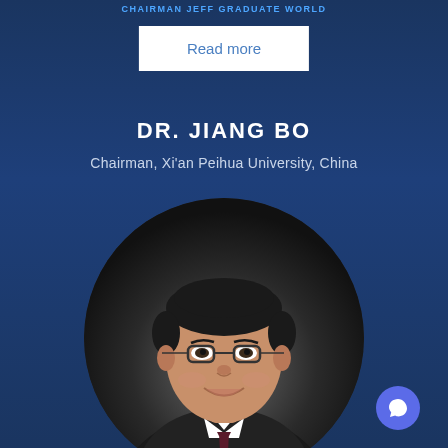CHAIRMAN JEFF GRADUATE WORLD
Read more
DR. JIANG BO
Chairman, Xi'an Peihua University, China
[Figure (photo): Portrait photo of Dr. Jiang Bo, a man wearing glasses and a suit with tie, smiling, in an oval/circular crop]